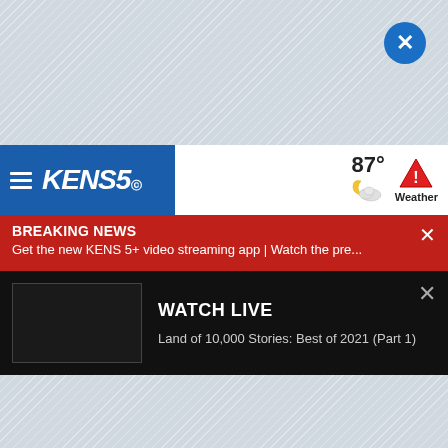[Figure (screenshot): Blue circular close button with white X in top right corner of screen]
[Figure (logo): KENS 5 CBS television station logo in white on blue background with hamburger menu icon]
87° Weather
BREAKING NEWS
Get the new KENS 5+ video streaming app | Watch the pre...
WATCH LIVE
Land of 10,000 Stories: Best of 2021 (Part 1)